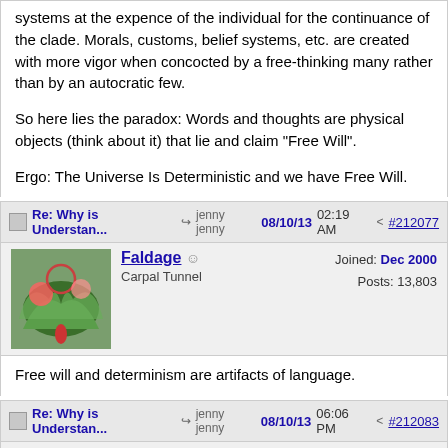systems at the expence of the individual for the continuance of the clade. Morals, customs, belief systems, etc. are created with more vigor when concocted by a free-thinking many rather than by an autocratic few.

So here lies the paradox: Words and thoughts are physical objects (think about it) that lie and claim "Free Will".

Ergo: The Universe Is Deterministic and we have Free Will.
Re: Why is Understan... → jenny jenny 08/10/13 02:19 AM < #212077
Faldage — Carpal Tunnel | Joined: Dec 2000 | Posts: 13,803
Free will and determinism are artifacts of language.
Re: Why is Understan... → jenny jenny 08/10/13 06:06 PM < #212083
Buffalo Shrdlu — Carpal Tunnel | Joined: Jun 2002 | Posts: 7,210 | Vermont
What's the evolution of the troll?